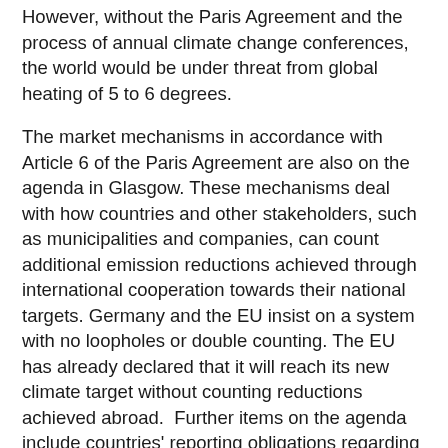However, without the Paris Agreement and the process of annual climate change conferences, the world would be under threat from global heating of 5 to 6 degrees.
The market mechanisms in accordance with Article 6 of the Paris Agreement are also on the agenda in Glasgow. These mechanisms deal with how countries and other stakeholders, such as municipalities and companies, can count additional emission reductions achieved through international cooperation towards their national targets. Germany and the EU insist on a system with no loopholes or double counting. The EU has already declared that it will reach its new climate target without counting reductions achieved abroad.  Further items on the agenda include countries' reporting obligations regarding their climate progress and common rules on the time frames and comparability of NDCs.
In addition to the rulebook, decisions are pending at the beginning of the conference on implementation issues, the